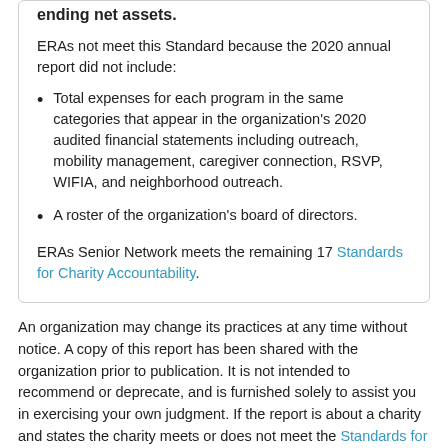ending net assets.
ERAs not meet this Standard because the 2020 annual report did not include:
Total expenses for each program in the same categories that appear in the organization's 2020 audited financial statements including outreach, mobility management, caregiver connection, RSVP, WIFIA, and neighborhood outreach.
A roster of the organization's board of directors.
ERAs Senior Network meets the remaining 17 Standards for Charity Accountability.
An organization may change its practices at any time without notice. A copy of this report has been shared with the organization prior to publication. It is not intended to recommend or deprecate, and is furnished solely to assist you in exercising your own judgment. If the report is about a charity and states the charity meets or does not meet the Standards for Charity